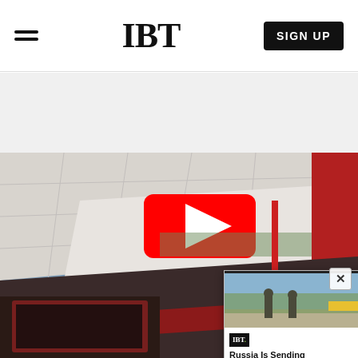IBT
[Figure (screenshot): IBT website navigation header with hamburger menu on left, IBT logo in center, and SIGN UP button on right]
[Figure (photo): Upward-angle photograph of a YouTube office building exterior showing the YouTube play button logo on a white and red building structure]
[Figure (screenshot): Floating video card overlay showing IBT logo and headline: Russia Is Sending 'People To Their De...' with a thumbnail of soldiers walking]
Russia Is Sending 'People To Their De...